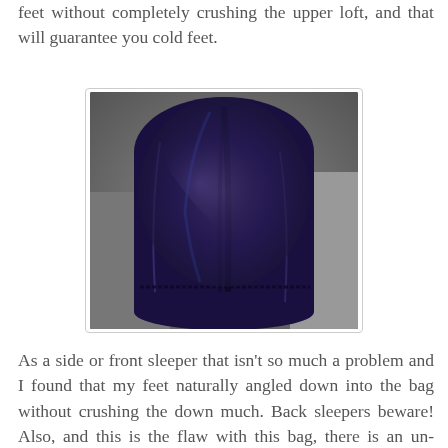feet without completely crushing the upper loft, and that will guarantee you cold feet.
[Figure (photo): Photo of the foot-box end of a dark navy/purple sleeping bag, showing the curved top and stitching details, lying on a rocky surface.]
As a side or front sleeper that isn't so much a problem and I found that my feet naturally angled down into the bag without crushing the down much. Back sleepers beware! Also, and this is the flaw with this bag, there is an un-baffled, read - stitched through, seam running right across the lower foot-box of the bag. This really affects the warmth of the foot